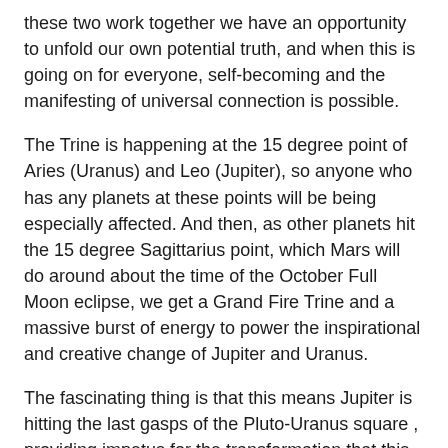these two work together we have an opportunity to unfold our own potential truth, and when this is going on for everyone, self-becoming and the manifesting of universal connection is possible.
The Trine is happening at the 15 degree point of Aries (Uranus) and Leo (Jupiter), so anyone who has any planets at these points will be being especially affected. And then, as other planets hit the 15 degree Sagittarius point, which Mars will do around about the time of the October Full Moon eclipse, we get a Grand Fire Trine and a massive burst of energy to power the inspirational and creative change of Jupiter and Uranus.
The fascinating thing is that this means Jupiter is hitting the last gasps of the Pluto-Uranus square , providing impetus for the transformation that this ‘evolve or evaporate’ energy is demanding of us on a personal, social and planetary level.